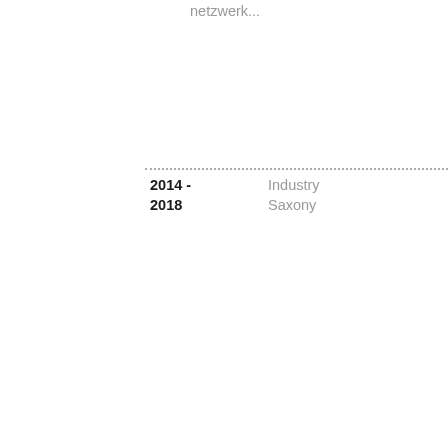netzwerk...
2014 - 2018 | Industry Saxony
11/2018 | Electrom... Compete... NRW
11/2018 | Networki... Electric M...
10/2018 | 17th Brennsto...